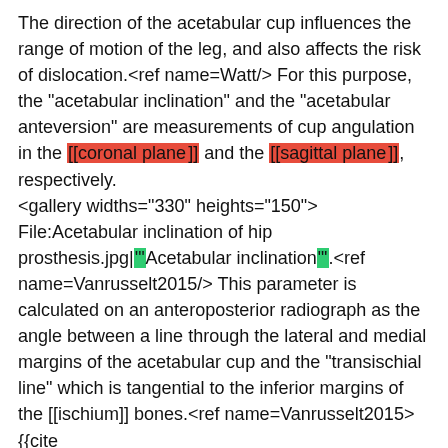The direction of the acetabular cup influences the range of motion of the leg, and also affects the risk of dislocation.<ref name=Watt/> For this purpose, the "acetabular inclination" and the "acetabular anteversion" are measurements of cup angulation in the [[coronal plane]] and the [[sagittal plane]], respectively.
<gallery widths="330" heights="150">
File:Acetabular inclination of hip prosthesis.jpg|""Acetabular inclination"".<ref name=Vanrusselt2015/> This parameter is calculated on an anteroposterior radiograph as the angle between a line through the lateral and medial margins of the acetabular cup and the "transischial line" which is tangential to the inferior margins of the [[ischium]] bones.<ref name=Vanrusselt2015>{{cite journal|last1=Vanrusselt|first1=Jan|last2=Vansevenant|first2=Milan|last3=Vanderschueren|first3=Geert|last4=Vanhoenacker|first4=Filip|title=Postoperative radiograph of the hip arthroplasty: what the radiologist should know|journal=Insights into Imaging|volume=6|issue=6|year=2015|pages=591–600|issn=1869-4101|doi=10.1007/s13244-015-0438-